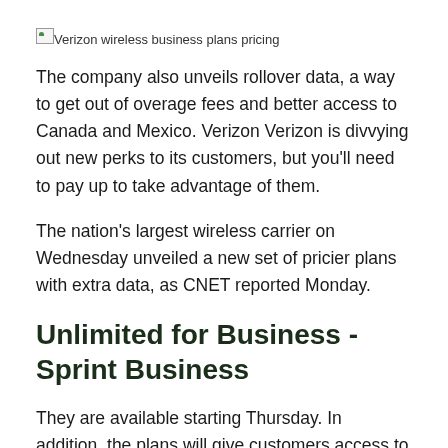[Figure (other): Broken image placeholder labeled 'Verizon wireless business plans pricing']
The company also unveils rollover data, a way to get out of overage fees and better access to Canada and Mexico. Verizon Verizon is divvying out new perks to its customers, but you'll need to pay up to take advantage of them.
The nation's largest wireless carrier on Wednesday unveiled a new set of pricier plans with extra data, as CNET reported Monday.
Unlimited for Business - Sprint Business
They are available starting Thursday. In addition, the plans will give customers access to new features such as a rollover data program called "Carryover Data.